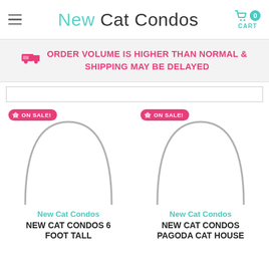New Cat Condos
ORDER VOLUME IS HIGHER THAN NORMAL & SHIPPING MAY BE DELAYED
[Figure (screenshot): Two product cards with circular product images, ON SALE badges, brand labels 'New Cat Condos', and product names 'NEW CAT CONDOS 6 FOOT TALL' and 'NEW CAT CONDOS PAGODA CAT HOUSE']